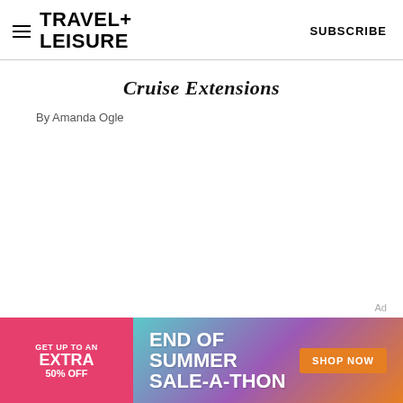TRAVEL+ LEISURE  SUBSCRIBE
Cruise Extensions
By Amanda Ogle
[Figure (infographic): Advertisement banner: pink left panel reading GET UP TO AN EXTRA 50% OFF, and colorful right panel reading END OF SUMMER SALE-A-THON with a SHOP NOW button]